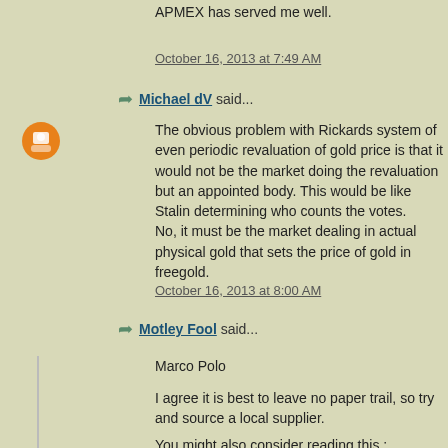APMEX has served me well.
October 16, 2013 at 7:49 AM
Michael dV said...
The obvious problem with Rickards system of even periodic revaluation of gold price is that it would not be the market doing the revaluation but an appointed body. This would be like Stalin determining who counts the votes.
No, it must be the market dealing in actual physical gold that sets the price of gold in freegold.
October 16, 2013 at 8:00 AM
Motley Fool said...
Marco Polo
I agree it is best to leave no paper trail, so try and source a local supplier.
You might also consider reading this :
http://fofoa.blogspot.com/2012/10/think-like-giant.html
http://fofoa.blogspot.com/2013/02/think-like-giant-2.html